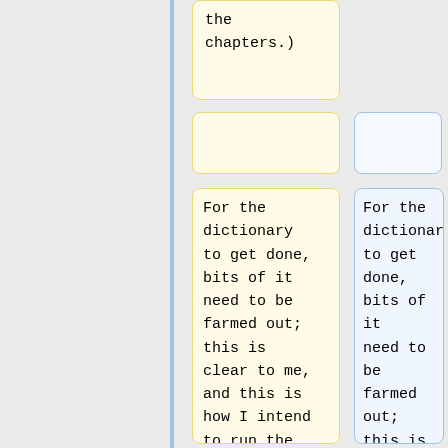the chapters.)
For the dictionary to get done, bits of it need to be farmed out; this is clear to me, and this is how I intend to run the [[BPFK|BPFK]] -- the more so as I simply have neither the time, the Montegowian
For the dictionary to get done, bits of it need to be farmed out; this is clear to me, and this is how I intend to run the [[BPFK|BPFK]] - the more so as I simply have neither the time, the Montegowian